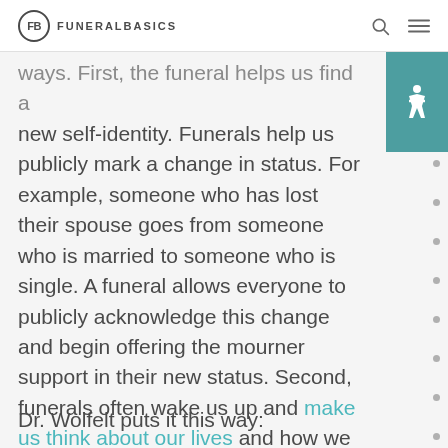FB FUNERALBASICS
ways. First, the funeral helps us find a new self-identity. Funerals help us publicly mark a change in status. For example, someone who has lost their spouse goes from someone who is married to someone who is single. A funeral allows everyone to publicly acknowledge this change and begin offering the mourner support in their new status. Second, funerals often wake us up and make us think about our lives and how we want to spend our remaining days.
Dr. Wolfelt puts it this way: